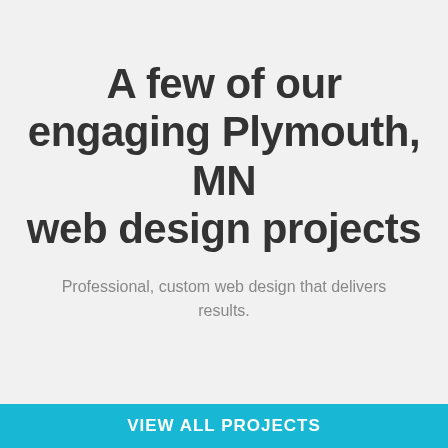A few of our engaging Plymouth, MN web design projects
Professional, custom web design that delivers results.
VIEW ALL PROJECTS